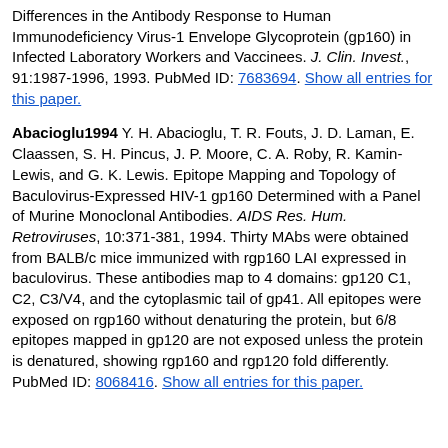Differences in the Antibody Response to Human Immunodeficiency Virus-1 Envelope Glycoprotein (gp160) in Infected Laboratory Workers and Vaccinees. J. Clin. Invest., 91:1987-1996, 1993. PubMed ID: 7683694. Show all entries for this paper.
Abacioglu1994 Y. H. Abacioglu, T. R. Fouts, J. D. Laman, E. Claassen, S. H. Pincus, J. P. Moore, C. A. Roby, R. Kamin-Lewis, and G. K. Lewis. Epitope Mapping and Topology of Baculovirus-Expressed HIV-1 gp160 Determined with a Panel of Murine Monoclonal Antibodies. AIDS Res. Hum. Retroviruses, 10:371-381, 1994. Thirty MAbs were obtained from BALB/c mice immunized with rgp160 LAI expressed in baculovirus. These antibodies map to 4 domains: gp120 C1, C2, C3/V4, and the cytoplasmic tail of gp41. All epitopes were exposed on rgp160 without denaturing the protein, but 6/8 epitopes mapped in gp120 are not exposed unless the protein is denatured, showing rgp160 and rgp120 fold differently. PubMed ID: 8068416. Show all entries for this paper.